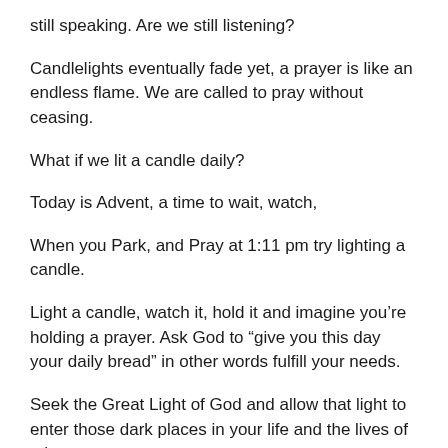still speaking. Are we still listening?
Candlelights eventually fade yet, a prayer is like an endless flame. We are called to pray without ceasing.
What if we lit a candle daily?
Today is Advent, a time to wait, watch,
When you Park, and Pray at 1:11 pm try lighting a candle.
Light a candle, watch it, hold it and imagine you’re holding a prayer. Ask God to “give you this day your daily bread” in other words fulfill your needs.
Seek the Great Light of God and allow that light to enter those dark places in your life and the lives of others.
A Prayer at 1:11 pm